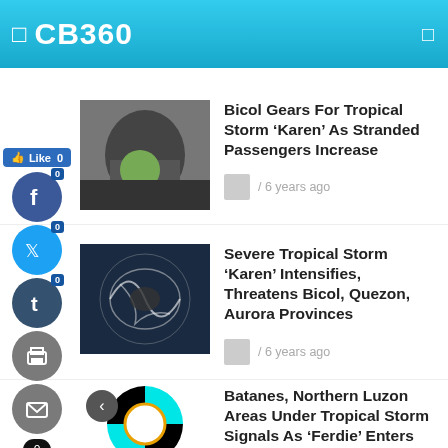CB360
[Figure (screenshot): Thumbnail photo of stranded passengers]
Bicol Gears For Tropical Storm ‘Karen’ As Stranded Passengers Increase
/ 6 years ago
[Figure (photo): Satellite image of tropical storm Karen]
Severe Tropical Storm ‘Karen’ Intensifies, Threatens Bicol, Quezon, Aurora Provinces
/ 6 years ago
[Figure (logo): Pinwheel logo with black and cyan quarters and PAGASA emblem]
Batanes, Northern Luzon Areas Under Tropical Storm Signals As ‘Ferdie’ Enters PAR
/ 6 years ago